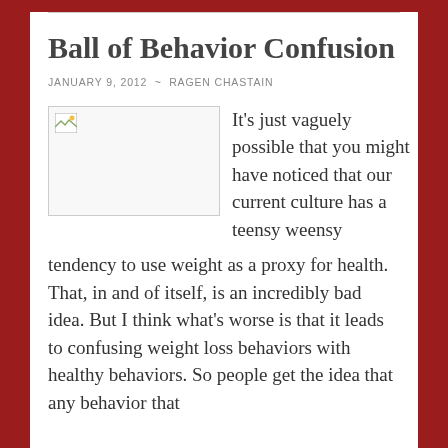Ball of Behavior Confusion
JANUARY 9, 2012 ~ RAGEN CHASTAIN
[Figure (photo): Broken image placeholder with small landscape icon in top-left corner]
It’s just vaguely possible that you might have noticed that our current culture has a teensy weensy tendency to use weight as a proxy for health. That, in and of itself, is an incredibly bad idea. But I think what’s worse is that it leads to confusing weight loss behaviors with healthy behaviors. So people get the idea that any behavior that